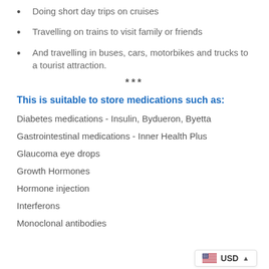Doing short day trips on cruises
Travelling on trains to visit family or friends
And travelling in buses, cars, motorbikes and trucks to a tourist attraction.
***
This is suitable to store medications such as:
Diabetes medications - Insulin, Bydueron, Byetta
Gastrointestinal medications - Inner Health Plus
Glaucoma eye drops
Growth Hormones
Hormone injection
Interferons
Monoclonal antibodies